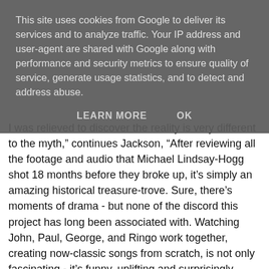This site uses cookies from Google to deliver its services and to analyze traffic. Your IP address and user-agent are shared with Google along with performance and security metrics to ensure quality of service, generate usage statistics, and to detect and address abuse.
LEARN MORE   OK
I was relieved to discover the reality is very different to the myth," continues Jackson, "After reviewing all the footage and audio that Michael Lindsay-Hogg shot 18 months before they broke up, it's simply an amazing historical treasure-trove. Sure, there's moments of drama - but none of the discord this project has long been associated with. Watching John, Paul, George, and Ringo work together, creating now-classic songs from scratch, is not only fascinating - it's funny, uplifting and surprisingly intimate".
"I'm thrilled and honoured to have been entrusted with this remarkable footage - making the movie will be a sheer joy."
Jackson will be working with his They Shall Not Grow Old